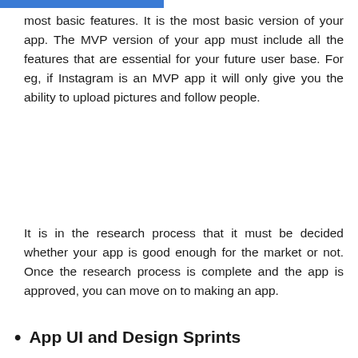most basic features. It is the most basic version of your app. The MVP version of your app must include all the features that are essential for your future user base. For eg, if Instagram is an MVP app it will only give you the ability to upload pictures and follow people.
It is in the research process that it must be decided whether your app is good enough for the market or not. Once the research process is complete and the app is approved, you can move on to making an app.
App UI and Design Sprints